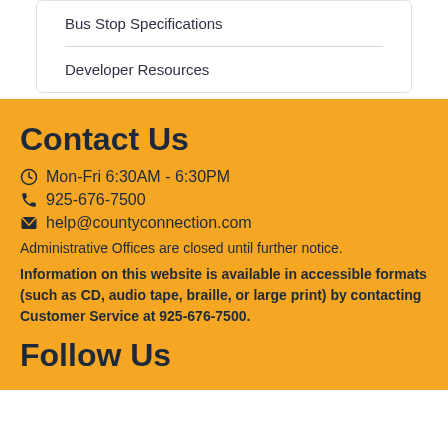Bus Stop Specifications
Developer Resources
Contact Us
Mon-Fri 6:30AM - 6:30PM
925-676-7500
help@countyconnection.com
Administrative Offices are closed until further notice.
Information on this website is available in accessible formats (such as CD, audio tape, braille, or large print) by contacting Customer Service at 925-676-7500.
Follow Us